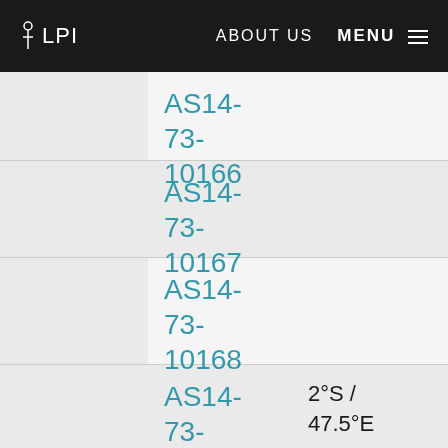LPI    ABOUT US    MENU
| ID | Coordinates |
| --- | --- |
| AS14-73-10166 |  |
| AS14-73-10167 |  |
| AS14-73-10168 |  |
| AS14-73-10169 | 2°S / 47.5°E |